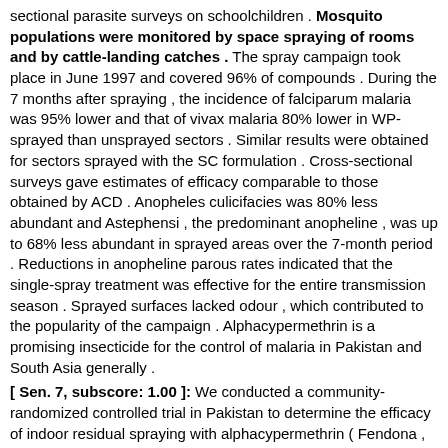sectional parasite surveys on schoolchildren . Mosquito populations were monitored by space spraying of rooms and by cattle-landing catches . The spray campaign took place in June 1997 and covered 96% of compounds . During the 7 months after spraying , the incidence of falciparum malaria was 95% lower and that of vivax malaria 80% lower in WP-sprayed than unsprayed sectors . Similar results were obtained for sectors sprayed with the SC formulation . Cross-sectional surveys gave estimates of efficacy comparable to those obtained by ACD . Anopheles culicifacies was 80% less abundant and Astephensi , the predominant anopheline , was up to 68% less abundant in sprayed areas over the 7-month period . Reductions in anopheline parous rates indicated that the single-spray treatment was effective for the entire transmission season . Sprayed surfaces lacked odour , which contributed to the popularity of the campaign . Alphacypermethrin is a promising insecticide for the control of malaria in Pakistan and South Asia generally .
[ Sen. 7, subscore: 1.00 ]: We conducted a community-randomized controlled trial in Pakistan to determine the efficacy of indoor residual spraying with alphacypermethrin ( Fendona , Cyanamid , NJ , USA ) , applied at 25 mg/m2 , to prevent falciparum and vivax malaria . Wettable powder ( WP ) and suspension concentrate ( SC ) formulations were tested against an unsprayed control in an irrigated rice-growing area of Sheikhupura district , Punjab province . The study area of 180 km2 was divided into nine sectors , which were assigned at random to control , WP , or SC treatments in replicates of 3 . Sentinel villages were selected from each sector for entomological and disease monitoring . Malaria was monitored by fortnightly active case detection ( ACD ) and by cross sectional parasite surveys on schoolchildren . Mosquito populations were monitored by space spraying of rooms and by cattle-landing catches . The spray campaign took place in June 1997 and covered 96% of